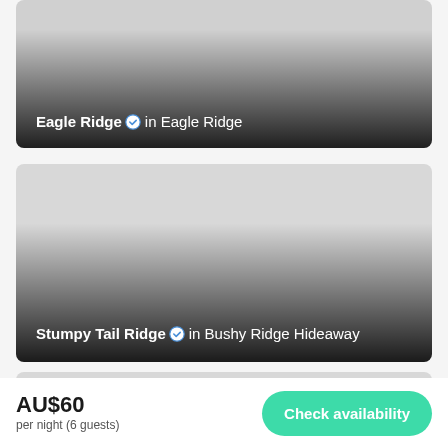[Figure (photo): Property listing card for Eagle Ridge showing a photo with dark gradient overlay and text]
Eagle Ridge ✓ in Eagle Ridge
[Figure (photo): Property listing card for Stumpy Tail Ridge showing a photo with dark gradient overlay and text]
Stumpy Tail Ridge ✓ in Bushy Ridge Hideaway
[Figure (photo): Partial third listing card visible at bottom]
AU$60
per night (6 guests)
Check availability